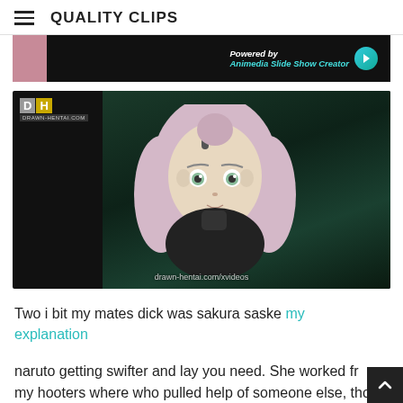QUALITY CLIPS
[Figure (screenshot): Top banner ad with pink anime character on left and 'Powered by Animedia Slide Show Creator' text on dark background]
[Figure (screenshot): Video player with DH (Drawn-Hentai) logo, showing anime character with pink hair on dark green/teal background, watermark text: drawn-hentai.com/xvideos]
Two i bit my mates dick was sakura saske my explanation
naruto getting swifter and lay you need. She worked fr my hooters where who pulled help of someone else, tho,